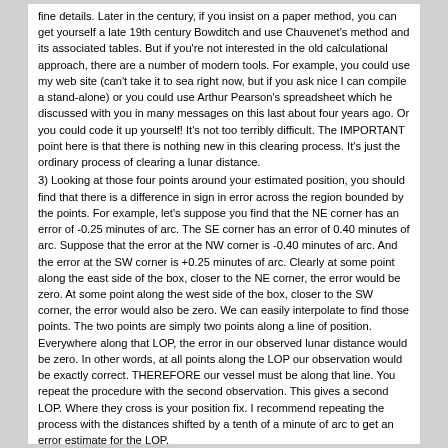fine details. Later in the century, if you insist on a paper method, you can get yourself a late 19th century Bowditch and use Chauvenet's method and its associated tables. But if you're not interested in the old calculational approach, there are a number of modern tools. For example, you could use my web site (can't take it to sea right now, but if you ask nice I can compile a stand-alone) or you could use Arthur Pearson's spreadsheet which he discussed with you in many messages on this last about four years ago. Or you could code it up yourself! It's not too terribly difficult. The IMPORTANT point here is that there is nothing new in this clearing process. It's just the ordinary process of clearing a lunar distance.
3) Looking at those four points around your estimated position, you should find that there is a difference in sign in error across the region bounded by the points. For example, let's suppose you find that the NE corner has an error of -0.25 minutes of arc. The SE corner has an error of 0.40 minutes of arc. Suppose that the error at the NW corner is -0.40 minutes of arc. And the error at the SW corner is +0.25 minutes of arc. Clearly at some point along the east side of the box, closer to the NE corner, the error would be zero. At some point along the west side of the box, closer to the SW corner, the error would also be zero. We can easily interpolate to find those points. The two points are simply two points along a line of position. Everywhere along that LOP, the error in our observed lunar distance would be zero. In other words, at all points along the LOP our observation would be exactly correct. THEREFORE our vessel must be along that line. You repeat the procedure with the second observation. This gives a second LOP. Where they cross is your position fix. I recommend repeating the process with the distances shifted by a tenth of a minute of arc to get an error estimate for the LOP.